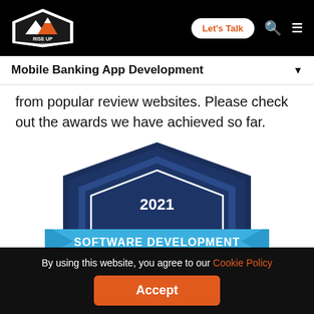Rise Up Labs — Navigation bar with logo, Let's Talk button, search and menu icons
Mobile Banking App Development
from popular review websites. Please check out the awards we have achieved so far.
[Figure (logo): 2021 Software Development Top Companies badge — dark blue hexagonal shield badge with light blue ribbon banner reading SOFTWARE DEVELOPMENT in white bold text and TOP COMPANIES below it]
By using this website, you agree to our Cookie Policy
Accept